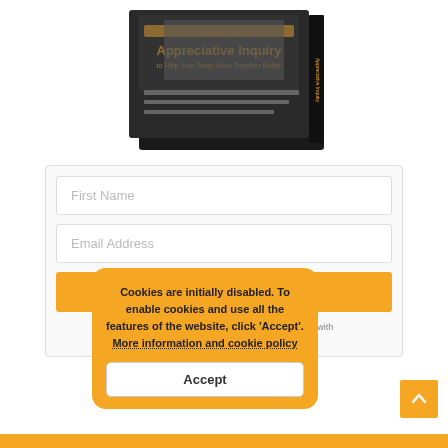[Figure (illustration): Book cover for 'How to use Appreciative Inquiry to Help Your Team Work Together Better' shown as a 3D book image with dark cover and yellow/orange text]
First Name
Email Address
SIGN ME UP!
We receive, use, and store your information in line with the privacy statement below.
Cookies are initially disabled. To enable cookies and use all the features of the website, click 'Accept'. More information and cookie policy
Accept